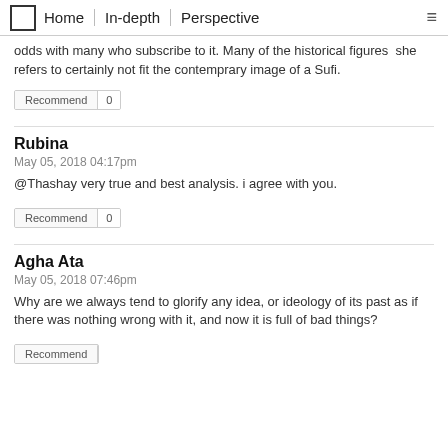Home | In-depth | Perspective
odds with many who subscribe to it. Many of the historical figures  she refers to certainly not fit the contemprary image of a Sufi.
Recommend | 0
Rubina
May 05, 2018 04:17pm
@Thashay very true and best analysis. i agree with you.
Recommend | 0
Agha Ata
May 05, 2018 07:46pm
Why are we always tend to glorify any idea, or ideology of its past as if there was nothing wrong with it, and now it is full of bad things?
Recommend